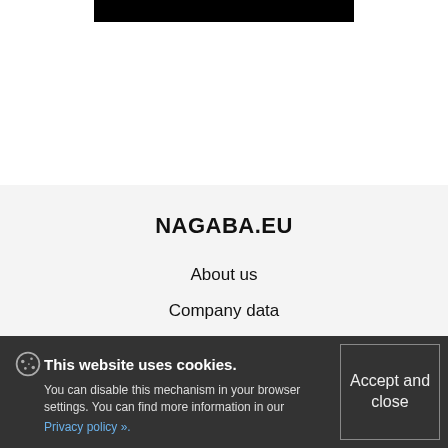[Figure (other): Black rectangular banner/logo bar at the top center of the page]
NAGABA.EU
About us
Company data
Legal notice
Terms and conditions
Privacy policy
Customer service office
This website uses cookies. You can disable this mechanism in your browser settings. You can find more information in our Privacy policy ».
Accept and close